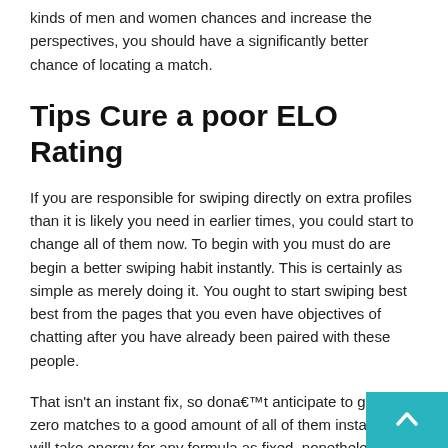kinds of men and women chances and increase the perspectives, you should have a significantly better chance of locating a match.
Tips Cure a poor ELO Rating
If you are responsible for swiping directly on extra profiles than it is likely you need in earlier times, you could start to change all of them now. To begin with you must do are begin a better swiping habit instantly. This is certainly as simple as merely doing it. You ought to start swiping best best from the pages that you even have objectives of chatting after you have already been paired with these people.
That isn’t an instant fix, so dona€TMt anticipate to go from zero matches to a good amount of all of them instantly. It will take energy for any formula as fixed, nonetheless it will continue to work with time.
Resetting Their Tinder Profile
This is a shortcut to resetting the ELO rating. You’ll…